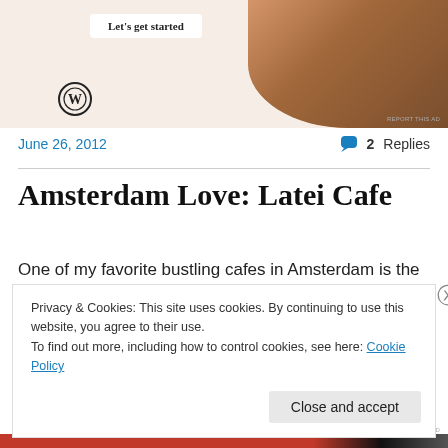[Figure (illustration): WordPress advertisement banner with 'Let's get started' button, WordPress logo, and photo of person typing on laptop]
REPORT THIS AD
June 26, 2012
2 Replies
Amsterdam Love: Latei Cafe
One of my favorite bustling cafes in Amsterdam is the
Privacy & Cookies: This site uses cookies. By continuing to use this website, you agree to their use.
To find out more, including how to control cookies, see here: Cookie Policy
Close and accept